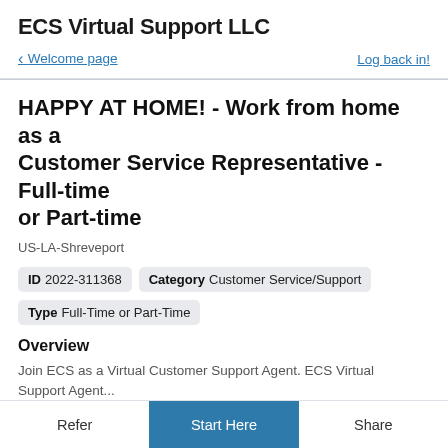ECS Virtual Support LLC
Welcome page
Log back in!
HAPPY AT HOME! - Work from home as a Customer Service Representative - Full-time or Part-time
US-LA-Shreveport
ID  2022-311368    Category  Customer Service/Support
Type  Full-Time or Part-Time
Overview
Join ECS as a Virtual Customer Support Agent. ECS Virtual Support Agent...
Refer    Start Here    Share